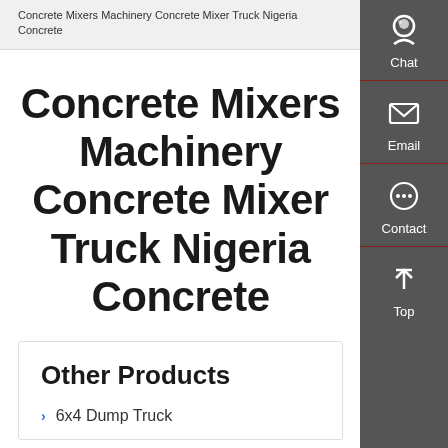Concrete Mixers Machinery Concrete Mixer Truck Nigeria Concrete
Concrete Mixers Machinery Concrete Mixer Truck Nigeria Concrete
Other Products
6x4 Dump Truck